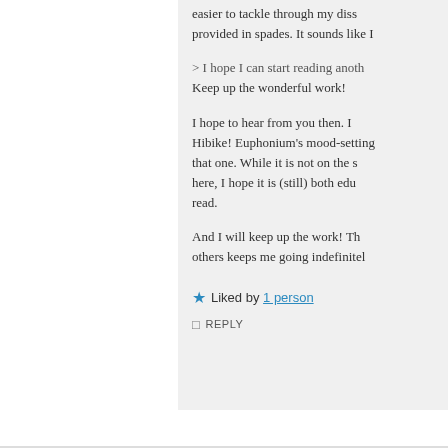easier to tackle through my diss provided in spades. It sounds like I
> I hope I can start reading anoth Keep up the wonderful work!
I hope to hear from you then. I Hibike! Euphonium's mood-setting that one. While it is not on the s here, I hope it is (still) both edu read.
And I will keep up the work! Th others keeps me going indefinitel
Liked by 1 person
REPLY